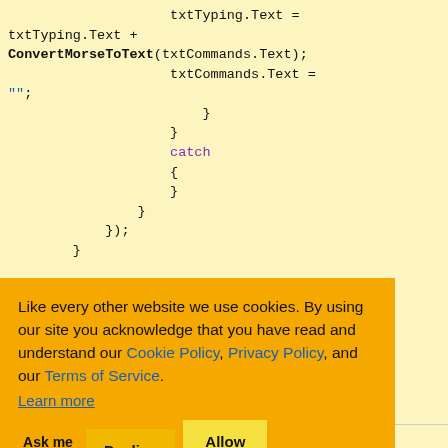[Figure (screenshot): Code snippet showing C# code with txtTyping.Text, ConvertMorseToText, catch block, closing braces and });]
and DOT(.) on a method converting the basically a character.
[Figure (screenshot): Cookie consent banner with orange background. Text: Like every other website we use cookies. By using our site you acknowledge that you have read and understand our Cookie Policy, Privacy Policy, and our Terms of Service. Learn more. Buttons: Ask me later, Decline, Allow cookies.]
#region Morse code related part